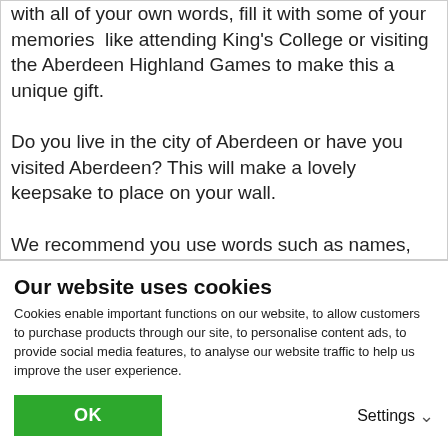with all of your own words, fill it with some of your memories  like attending King's College or visiting the Aberdeen Highland Games to make this a unique gift. Do you live in the city of Aberdeen or have you visited Aberdeen? This will make a lovely keepsake to place on your wall. We recommend you use words such as names, places, dates things the recipient likes, memories, We suggest no more than a couple of
Our website uses cookies
Cookies enable important functions on our website, to allow customers to purchase products through our site, to personalise content ads, to provide social media features, to analyse our website traffic to help us improve the user experience.